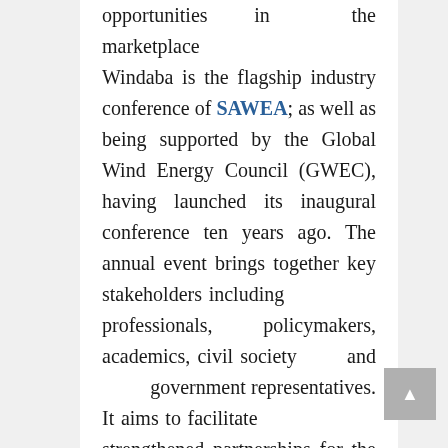opportunities in the marketplace Windaba is the flagship industry conference of SAWEA; as well as being supported by the Global Wind Energy Council (GWEC), having launched its inaugural conference ten years ago. The annual event brings together key stakeholders including professionals, policymakers, academics, civil society and government representatives. It aims to facilitate strengthened partnerships for the on-the-ground implementation of